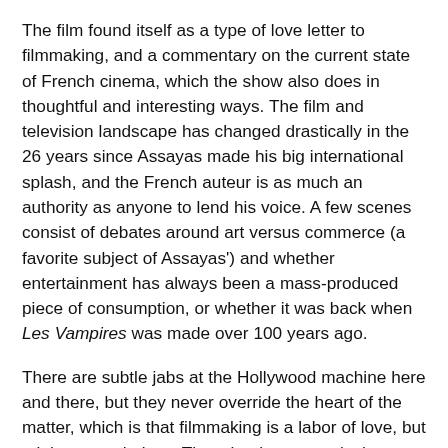The film found itself as a type of love letter to filmmaking, and a commentary on the current state of French cinema, which the show also does in thoughtful and interesting ways. The film and television landscape has changed drastically in the 26 years since Assayas made his big international splash, and the French auteur is as much an authority as anyone to lend his voice. A few scenes consist of debates around art versus commerce (a favorite subject of Assayas') and whether entertainment has always been a mass-produced piece of consumption, or whether it was back when Les Vampires was made over 100 years ago.
There are subtle jabs at the Hollywood machine here and there, but they never override the heart of the matter, which is that filmmaking is a labor of love, but a labor nonetheless. Though, given a particular development in the third and fourth episodes, it becomes evident that perhaps the series is a kind of meta therapy tool for Assayas and his off-screen